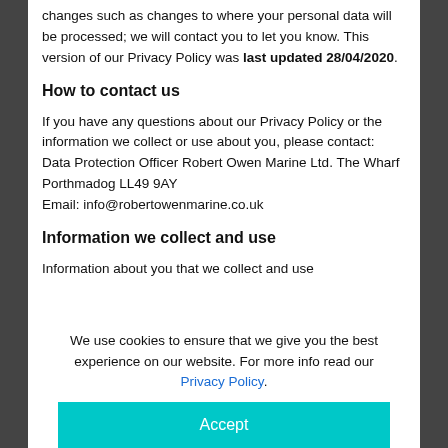changes such as changes to where your personal data will be processed; we will contact you to let you know. This version of our Privacy Policy was last updated 28/04/2020.
How to contact us
If you have any questions about our Privacy Policy or the information we collect or use about you, please contact: Data Protection Officer Robert Owen Marine Ltd. The Wharf Porthmadog LL49 9AY Email: info@robertowenmarine.co.uk
Information we collect and use
Information about you that we collect and use
We use cookies to ensure that we give you the best experience on our website. For more info read our Privacy Policy.